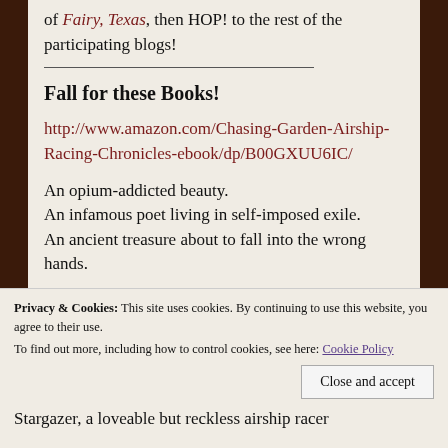of Fairy, Texas, then HOP! to the rest of the participating blogs!
Fall for these Books!
http://www.amazon.com/Chasing-Garden-Airship-Racing-Chronicles-ebook/dp/B00GXUU6IC/
An opium-addicted beauty.
An infamous poet living in self-imposed exile.
An ancient treasure about to fall into the wrong hands.
Privacy & Cookies: This site uses cookies. By continuing to use this website, you agree to their use.
To find out more, including how to control cookies, see here: Cookie Policy
Close and accept
Stargazer, a loveable but reckless airship racer